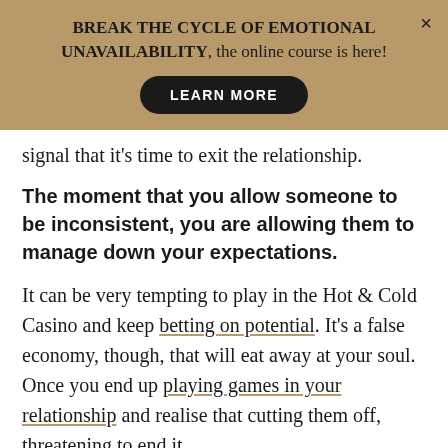BREAK THE CYCLE OF EMOTIONAL UNAVAILABILITY, the online course is here! LEARN MORE
signal that it's time to exit the relationship.
The moment that you allow someone to be inconsistent, you are allowing them to manage down your expectations.
It can be very tempting to play in the Hot & Cold Casino and keep betting on potential. It's a false economy, though, that will eat away at your soul. Once you end up playing games in your relationship and realise that cutting them off, threatening to end it,